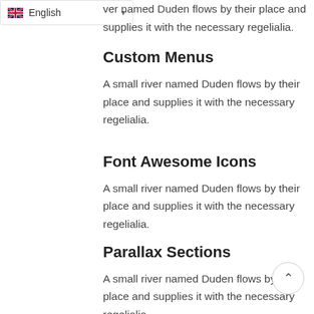[Figure (screenshot): Language selector dropdown showing English with UK flag]
ver named Duden flows by their place and supplies it with the necessary regelialia.
Custom Menus
A small river named Duden flows by their place and supplies it with the necessary regelialia.
Font Awesome Icons
A small river named Duden flows by their place and supplies it with the necessary regelialia.
Parallax Sections
A small river named Duden flows by their place and supplies it with the necessary regelialia.